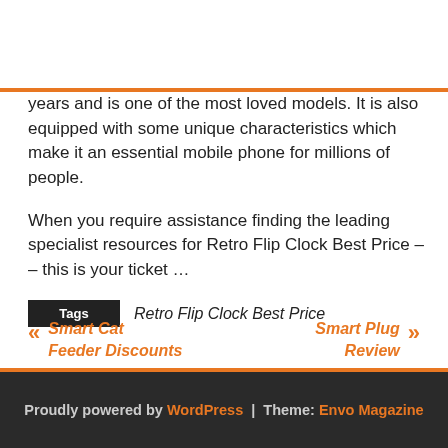years and is one of the most loved models. It is also equipped with some unique characteristics which make it an essential mobile phone for millions of people.
When you require assistance finding the leading specialist resources for Retro Flip Clock Best Price – – this is your ticket …
Tags  Retro Flip Clock Best Price
« Smart Cat Feeder Discounts
Smart Plug Review »
Proudly powered by WordPress | Theme: Envo Magazine